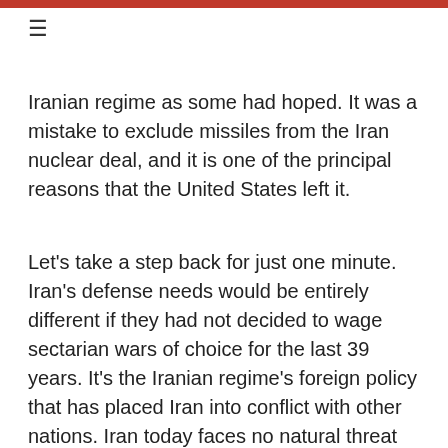≡
Iranian regime as some had hoped. It was a mistake to exclude missiles from the Iran nuclear deal, and it is one of the principal reasons that the United States left it.
Let's take a step back for just one minute. Iran's defense needs would be entirely different if they had not decided to wage sectarian wars of choice for the last 39 years. It's the Iranian regime's foreign policy that has placed Iran into conflict with other nations. Iran today faces no natural threat from its Arab neighbors, Israel, or Afghanistan. Before the 1979 revolution, Iran enjoyed relations with these same neighbors. But today, Iran's military is the largest in the region. Its revolutionary forces are present in nearly every neighboring nation. Its militias spread like a cancer, eroding stability and threatening peace and global trade in both the Strait of Hormuz and the Bab el-Mandeb.